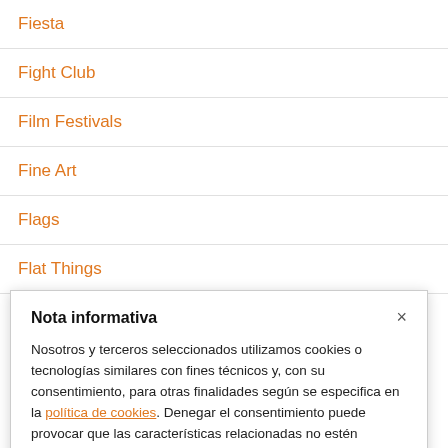Fiesta
Fight Club
Film Festivals
Fine Art
Flags
Flat Things
Nota informativa
Nosotros y terceros seleccionados utilizamos cookies o tecnologías similares con fines técnicos y, con su consentimiento, para otras finalidades según se especifica en la política de cookies. Denegar el consentimiento puede provocar que las características relacionadas no estén disponibles.